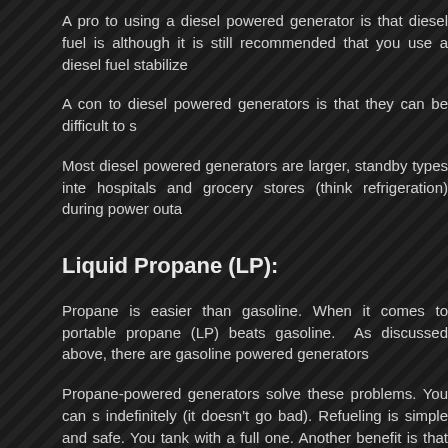A pro to using a diesel powered generator is that diesel fuel is although it is still recommended that you use a diesel fuel stabilize
A con to diesel powered generators is that they can be difficult to s
Most diesel powered generators are larger, standby types inte hospitals and grocery stores (think refrigeration) during power outa
Liquid Propane (LP):
Propane is easier than gasoline. When it comes to portable propane (LP) beats gasoline.  As discussed above, there are gasoline powered generators
Propane-powered generators solve these problems. You can s indefinitely (it doesn't go bad). Refueling is simple and safe. You tank with a full one. Another benefit is that you don't have to w generator getting gunned up with old gasoline.